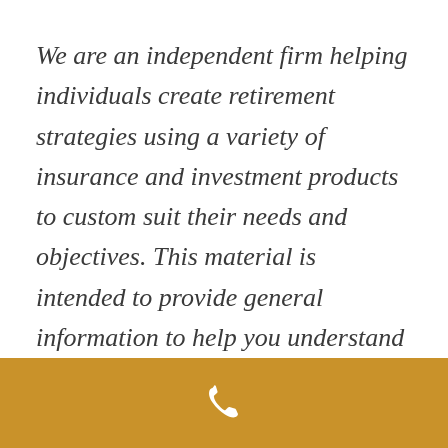We are an independent firm helping individuals create retirement strategies using a variety of insurance and investment products to custom suit their needs and objectives. This material is intended to provide general information to help you understand basic financial planning strategies and should not be construed as financial or investment advice. All investments are subject to risk including the potential loss
[Figure (other): Gold/amber colored footer bar with a white telephone handset icon centered within it]